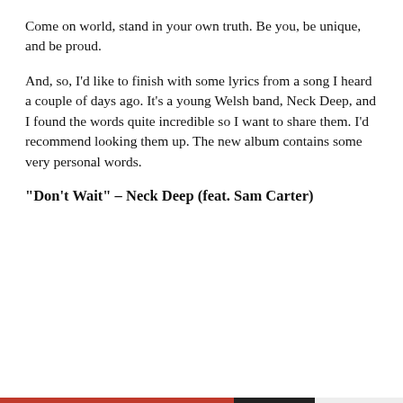Come on world, stand in your own truth. Be you, be unique, and be proud.
And, so, I’d like to finish with some lyrics from a song I heard a couple of days ago. It’s a young Welsh band, Neck Deep, and I found the words quite incredible so I want to share them. I’d recommend looking them up. The new album contains some very personal words.
“Don’t Wait” – Neck Deep (feat. Sam Carter)
Privacy & Cookies: This site uses cookies. By continuing to use this website, you agree to their use. To find out more, including how to control cookies, see here: Cookie Policy